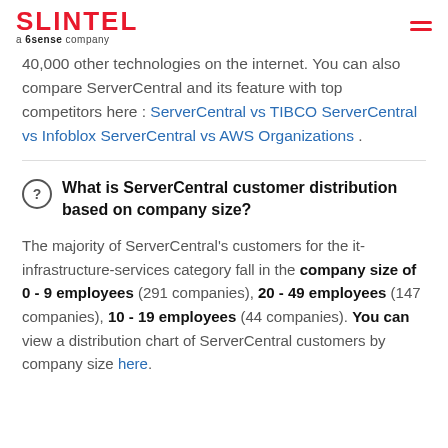SLINTEL a 6sense company
40,000 other technologies on the internet. You can also compare ServerCentral and its feature with top competitors here : ServerCentral vs TIBCO ServerCentral vs Infoblox ServerCentral vs AWS Organizations .
What is ServerCentral customer distribution based on company size?
The majority of ServerCentral's customers for the it-infrastructure-services category fall in the company size of 0 - 9 employees (291 companies), 20 - 49 employees (147 companies), 10 - 19 employees (44 companies). You can view a distribution chart of ServerCentral customers by company size here.